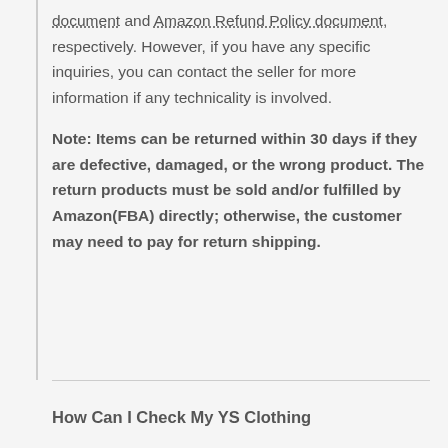document and Amazon Refund Policy document, respectively. However, if you have any specific inquiries, you can contact the seller for more information if any technicality is involved.
Note: Items can be returned within 30 days if they are defective, damaged, or the wrong product. The return products must be sold and/or fulfilled by Amazon(FBA) directly; otherwise, the customer may need to pay for return shipping.
How Can I Check My YS Clothing